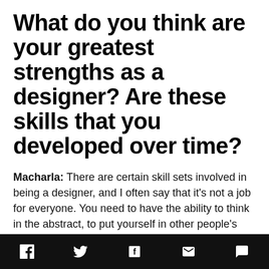What do you think are your greatest strengths as a designer? Are these skills that you developed over time?
Macharla: There are certain skill sets involved in being a designer, and I often say that it's not a job for everyone. You need to have the ability to think in the abstract, to put yourself in other people's shoes, to work well with others, and to brainstorm and come up with ideas under pressure. I think to a certain extent, designers should be
Social share bar with icons: Facebook, Twitter, Flipboard, Email, Comment